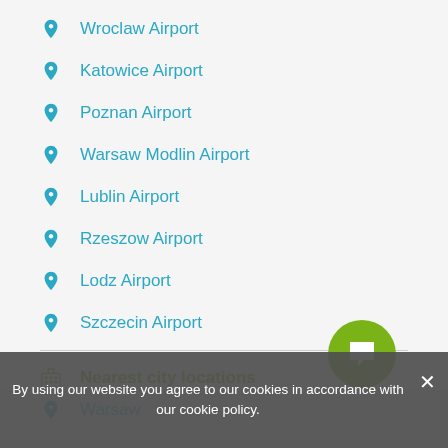Wroclaw Airport
Katowice Airport
Poznan Airport
Warsaw Modlin Airport
Lublin Airport
Rzeszow Airport
Lodz Airport
Szczecin Airport
Nearest city locations
Warsaw
By using our website you agree to our cookies in accordance with our cookie policy.